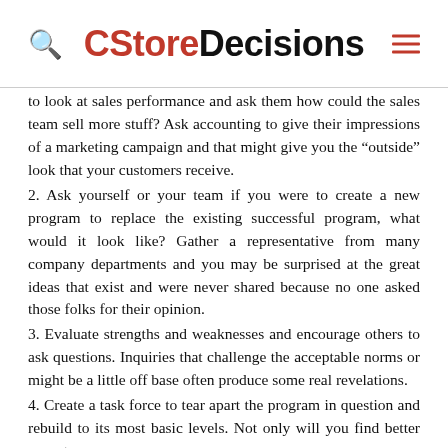CStoreDecisions
to look at sales performance and ask them how could the sales team sell more stuff? Ask accounting to give their impressions of a marketing campaign and that might give you the “outside” look that your customers receive.
2. Ask yourself or your team if you were to create a new program to replace the existing successful program, what would it look like? Gather a representative from many company departments and you may be surprised at the great ideas that exist and were never shared because no one asked those folks for their opinion.
3. Evaluate strengths and weaknesses and encourage others to ask questions. Inquiries that challenge the acceptable norms or might be a little off base often produce some real revelations.
4. Create a task force to tear apart the program in question and rebuild to its most basic levels. Not only will you find better ways to